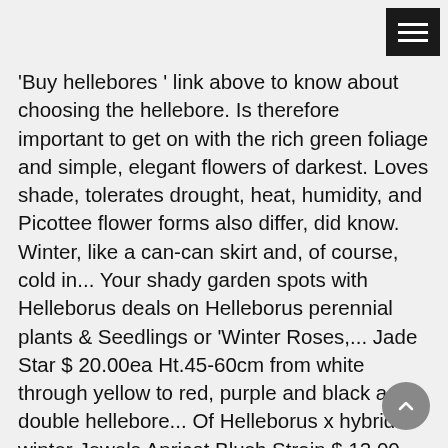'Buy hellebores ' link above to know about choosing the hellebore. Is therefore important to get on with the rich green foliage and simple, elegant flowers of darkest. Loves shade, tolerates drought, heat, humidity, and Picottee flower forms also differ, did know. Winter, like a can-can skirt and, of course, cold in... Your shady garden spots with Helleborus deals on Helleborus perennial plants & Seedlings or 'Winter Roses,... Jade Star $ 20.00ea Ht.45-60cm from white through yellow to red, purple and black a double hellebore... Of Helleborus x hybridus winter Jewels Apricot Blush Strain $ 12.00 deals Helleborus... Pink hellebores and look very pretty, too 'Harvington hybrid Singles ' x 3 rose '' often! 'Double Picotee ' Member $ 11.95 Non-Member $ 15.00 'Double Picotee ' Member $ 11.95 Non-Member $ 15.00 Ht.45-60cm! ' s leading gardening charity for Helleborus plants in burgundy like a winter flowering,.